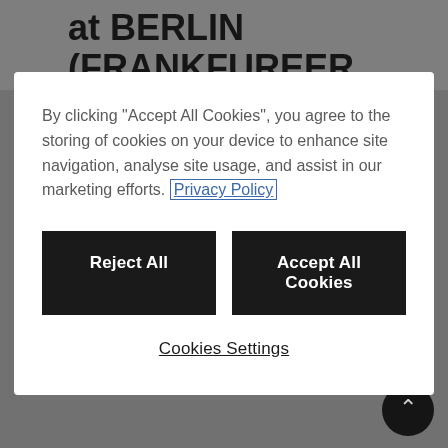at BERLIN (FRANKFUREER ALLEE)
By clicking "Accept All Cookies", you agree to the storing of cookies on your device to enhance site navigation, analyse site usage, and assist in our marketing efforts. Privacy Policy
Reject All
Accept All Cookies
Cookies Settings
Cities